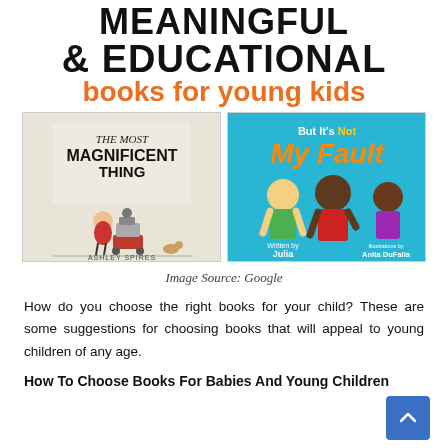MEANINGFUL & EDUCATIONAL books for young kids
[Figure (illustration): Two children's book covers side by side: 'The Most Magnificent Thing' by Ashley Spires on the left, and 'But It's Not My Fault' by Julia Cook on the right.]
Image Source: Google
How do you choose the right books for your child? These are some suggestions for choosing books that will appeal to young children of any age.
How To Choose Books For Babies And Young Children